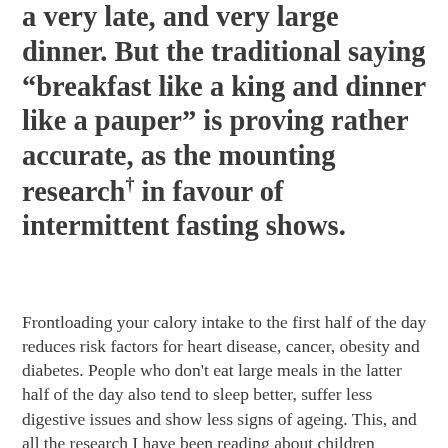a very late, and very large dinner. But the traditional saying “breakfast like a king and dinner like a pauper” is proving rather accurate, as the mounting research† in favour of intermittent fasting shows.
Frontloading your calory intake to the first half of the day reduces risk factors for heart disease, cancer, obesity and diabetes. People who don't eat large meals in the latter half of the day also tend to sleep better, suffer less digestive issues and show less signs of ageing. This, and all the research I have been reading about children performing better at school, being better